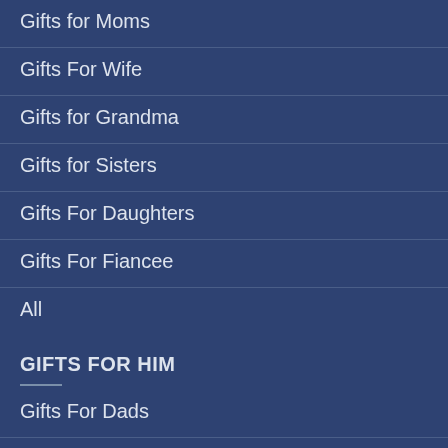Gifts for Moms
Gifts For Wife
Gifts for Grandma
Gifts for Sisters
Gifts For Daughters
Gifts For Fiancee
All
GIFTS FOR HIM
Gifts For Dads
Gifts for Husbands